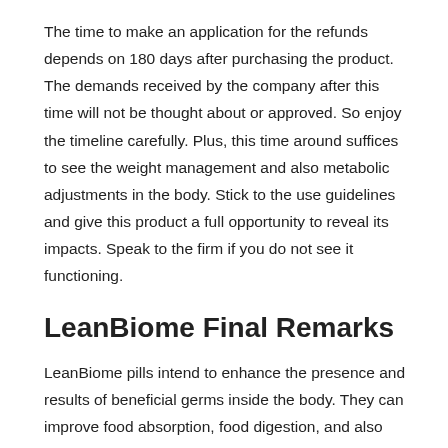The time to make an application for the refunds depends on 180 days after purchasing the product. The demands received by the company after this time will not be thought about or approved. So enjoy the timeline carefully. Plus, this time around suffices to see the weight management and also metabolic adjustments in the body. Stick to the use guidelines and give this product a full opportunity to reveal its impacts. Speak to the firm if you do not see it functioning.
LeanBiome Final Remarks
LeanBiome pills intend to enhance the presence and results of beneficial germs inside the body. They can improve food absorption, food digestion, and also utilization to develop power, without any fat build-up to make the body obese. This is a mix of probiotic as well as prebiotic pressures, and every single one of them has scientific evidence of its effectiveness.